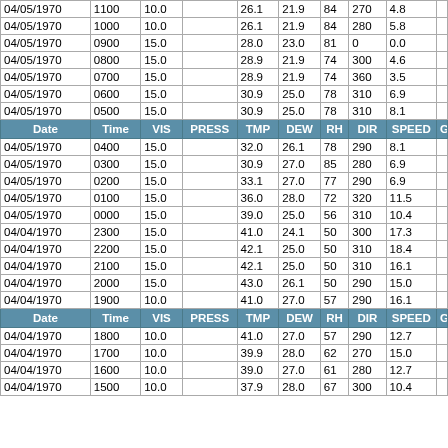| Date | Time | VIS | PRESS | TMP | DEW | RH | DIR | SPEED | GS |
| --- | --- | --- | --- | --- | --- | --- | --- | --- | --- |
| 04/05/1970 | 1100 | 10.0 |  | 26.1 | 21.9 | 84 | 270 | 4.8 |  |
| 04/05/1970 | 1000 | 10.0 |  | 26.1 | 21.9 | 84 | 280 | 5.8 |  |
| 04/05/1970 | 0900 | 15.0 |  | 28.0 | 23.0 | 81 | 0 | 0.0 |  |
| 04/05/1970 | 0800 | 15.0 |  | 28.9 | 21.9 | 74 | 300 | 4.6 |  |
| 04/05/1970 | 0700 | 15.0 |  | 28.9 | 21.9 | 74 | 360 | 3.5 |  |
| 04/05/1970 | 0600 | 15.0 |  | 30.9 | 25.0 | 78 | 310 | 6.9 |  |
| 04/05/1970 | 0500 | 15.0 |  | 30.9 | 25.0 | 78 | 310 | 8.1 |  |
| HEADER | Date | Time | VIS | PRESS | TMP | DEW | RH | DIR | SPEED | GS |
| 04/05/1970 | 0400 | 15.0 |  | 32.0 | 26.1 | 78 | 290 | 8.1 |  |
| 04/05/1970 | 0300 | 15.0 |  | 30.9 | 27.0 | 85 | 280 | 6.9 |  |
| 04/05/1970 | 0200 | 15.0 |  | 33.1 | 27.0 | 77 | 290 | 6.9 |  |
| 04/05/1970 | 0100 | 15.0 |  | 36.0 | 28.0 | 72 | 320 | 11.5 |  |
| 04/05/1970 | 0000 | 15.0 |  | 39.0 | 25.0 | 56 | 310 | 10.4 |  |
| 04/04/1970 | 2300 | 15.0 |  | 41.0 | 24.1 | 50 | 300 | 17.3 |  |
| 04/04/1970 | 2200 | 15.0 |  | 42.1 | 25.0 | 50 | 310 | 18.4 |  |
| 04/04/1970 | 2100 | 15.0 |  | 42.1 | 25.0 | 50 | 310 | 16.1 |  |
| 04/04/1970 | 2000 | 15.0 |  | 43.0 | 26.1 | 50 | 290 | 15.0 |  |
| 04/04/1970 | 1900 | 10.0 |  | 41.0 | 27.0 | 57 | 290 | 16.1 |  |
| HEADER | Date | Time | VIS | PRESS | TMP | DEW | RH | DIR | SPEED | GS |
| 04/04/1970 | 1800 | 10.0 |  | 41.0 | 27.0 | 57 | 290 | 12.7 |  |
| 04/04/1970 | 1700 | 10.0 |  | 39.9 | 28.0 | 62 | 270 | 15.0 |  |
| 04/04/1970 | 1600 | 10.0 |  | 39.0 | 27.0 | 61 | 280 | 12.7 |  |
| 04/04/1970 | 1500 | 10.0 |  | 37.9 | 28.0 | 67 | 300 | 10.4 |  |